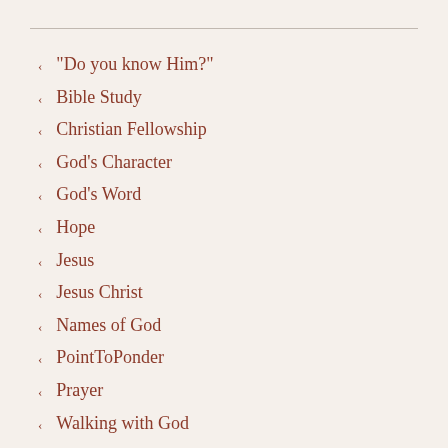"Do you know Him?"
Bible Study
Christian Fellowship
God's Character
God's Word
Hope
Jesus
Jesus Christ
Names of God
PointToPonder
Prayer
Walking with God
Who Is Jesus?